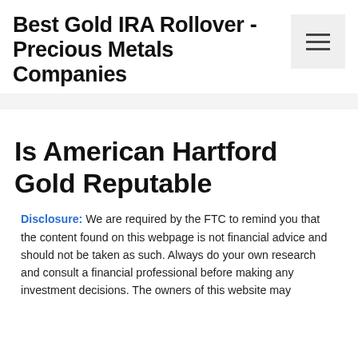Best Gold IRA Rollover - Precious Metals Companies
[Figure (other): Hamburger menu button with three horizontal bars]
Is American Hartford Gold Reputable
Disclosure: We are required by the FTC to remind you that the content found on this webpage is not financial advice and should not be taken as such. Always do your own research and consult a financial professional before making any investment decisions. The owners of this website may